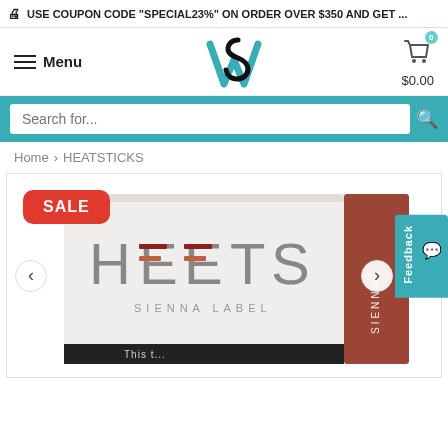USE COUPON CODE "SPECIAL23%" ON ORDER OVER $350 AND GET ...
[Figure (screenshot): Website header with hamburger menu, SW logo, and cart icon showing $0.00]
[Figure (screenshot): Teal search bar with 'Search for...' placeholder and search icon]
Home > HEATSTICKS
[Figure (photo): HEETS Sienna Label product box with SALE badge, left and right navigation arrows, and a feedback tab on the right side]